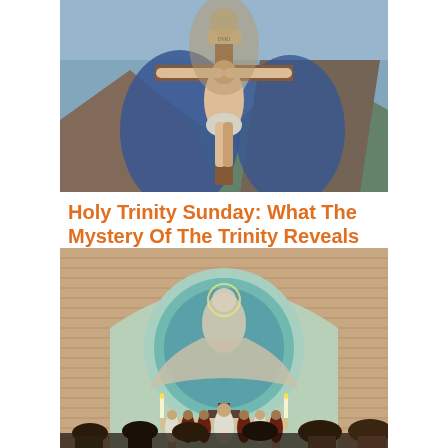[Figure (illustration): Painting of the crucifixion of Jesus Christ on the cross, with blue drapery, against a landscape background with mountains. A figure stands behind the cross.]
Holy Trinity Sunday: What The Mystery Of The Trinity Reveals
[Figure (photo): Photograph of a Catholic Mass ceremony from behind the congregation. Priests and ministers stand at an altar in front of a large circular mural depicting a divine figure in a glowing aura, in a brick church interior with candles lit on the altar.]